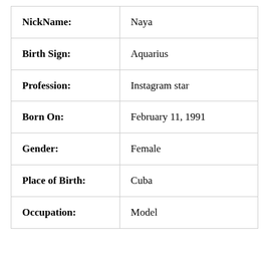| Field | Value |
| --- | --- |
| NickName: | Naya |
| Birth Sign: | Aquarius |
| Profession: | Instagram star |
| Born On: | February 11, 1991 |
| Gender: | Female |
| Place of Birth: | Cuba |
| Occupation: | Model |